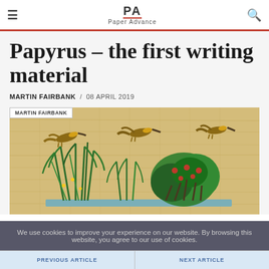≡  PA Paper Advance  🔍
Papyrus – the first writing material
MARTIN FAIRBANK  /  08 APRIL 2019
[Figure (photo): Egyptian papyrus painting showing birds flying over green reeds and plants; label overlay reads MARTIN FAIRBANK]
We use cookies to improve your experience on our website. By browsing this website, you agree to our use of cookies.
PREVIOUS ARTICLE   NEXT ARTICLE